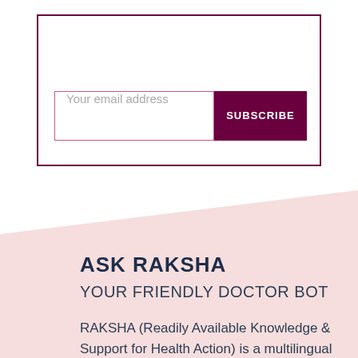[Figure (infographic): Email subscription box with a dark purple border, an email address text input field with pink border, and a dark purple SUBSCRIBE button]
[Figure (infographic): Light pink diagonal background section for Ask Raksha chatbot promotional content]
ASK RAKSHA
YOUR FRIENDLY DOCTOR BOT
RAKSHA (Readily Available Knowledge & Support for Health Action) is a multilingual chatbot that answers all your health queries, factchecks any health message for you and keeps you updated with health, diet and